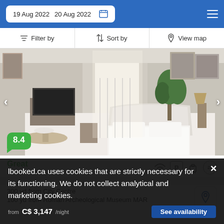19 Aug 2022  20 Aug 2022
Filter by
Sort by
View map
[Figure (photo): Hotel room interior with white bed, large windows with curtains, plants, TV, and framed artwork on walls]
8.4
Great
111 reviews
300 yd from City Centre
100 yd from Roman Archeological Museum MAR
Opened in 1700, just outside L'Arte della Ceramica, this grand...
lbooked.ca uses cookies that are strictly necessary for its functioning. We do not collect analytical and marketing cookies.
from C$ 3,147 /night